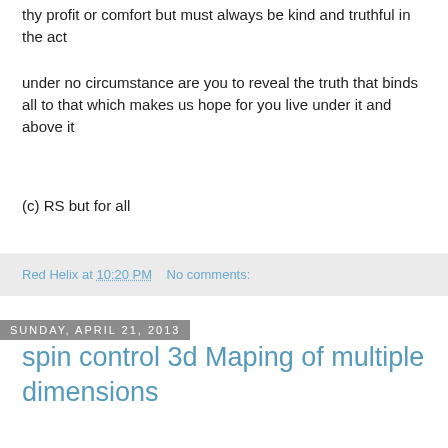thy profit or comfort but must always be kind and truthful in the act
under no circumstance are you to reveal the truth that binds all to that which makes us hope for you live under it and above it
(c) RS but for all
Red Helix at 10:20 PM   No comments:
Sunday, April 21, 2013
spin control 3d Maping of multiple dimensions
Several methods of Dimensional placement (c) RS
Coloured numbers on the 3D picture to represent the accociated vector in 4 to 13D space
*